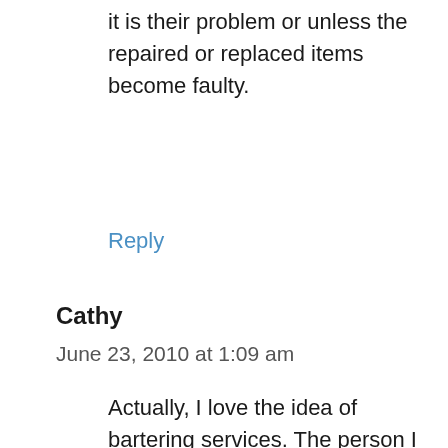it is their problem or unless the repaired or replaced items become faulty.
Reply
Cathy
June 23, 2010 at 1:09 am
Actually, I love the idea of bartering services. The person I help may not be able to pay me or
[Figure (screenshot): Petco advertisement showing Sterling location, OPEN 9AM-8PM, 22000 Dulles Retail Plaza, #110, Sterling]